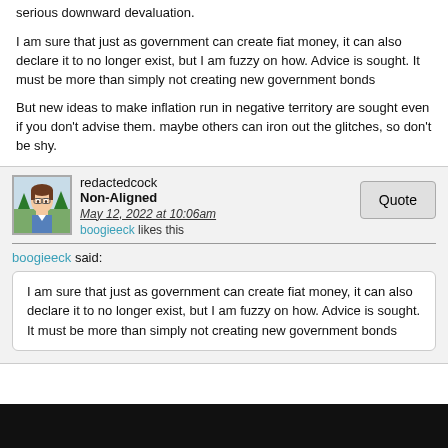serious downward devaluation.
I am sure that just as government can create fiat money, it can also declare it to no longer exist, but I am fuzzy on how. Advice is sought. It must be more than simply not creating new government bonds
But new ideas to make inflation run in negative territory are sought even if you don't advise them. maybe others can iron out the glitches, so don't be shy.
redactedcock
Non-Aligned
May 12, 2022 at 10:06am
boogieeck likes this
boogieeck said:
I am sure that just as government can create fiat money, it can also declare it to no longer exist, but I am fuzzy on how. Advice is sought. It must be more than simply not creating new government bonds